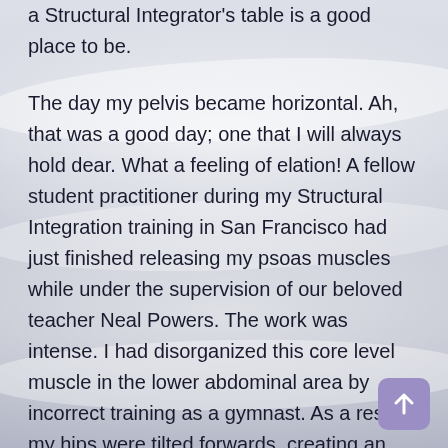a Structural Integrator's table is a good place to be.
The day my pelvis became horizontal. Ah, that was a good day; one that I will always hold dear. What a feeling of elation! A fellow student practitioner during my Structural Integration training in San Francisco had just finished releasing my psoas muscles while under the supervision of our beloved teacher Neal Powers. The work was intense. I had disorganized this core level muscle in the lower abdominal area by incorrect training as a gymnast. As a result, my hips were tilted forwards, creating an exaggerated lumbar curve or sway back, as it is also called. Medical terminology refers to this